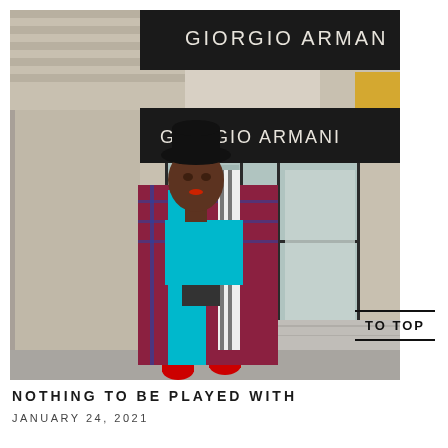[Figure (photo): A stylishly dressed woman standing in front of a Giorgio Armani store. She wears a black fedora hat, a bright turquoise turtleneck top, a plaid and striped open coat in red, blue, and white tones, black pants, and red ankle boots. She carries a small dark crossbody bag. The store facade features 'GIORGIO ARMANI' text on a dark awning above glass entrance doors.]
TO TOP
NOTHING TO BE PLAYED WITH
JANUARY 24, 2021